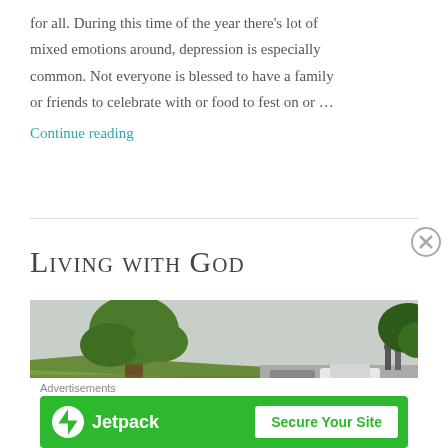for all. During this time of the year there's lot of mixed emotions around, depression is especially common. Not everyone is blessed to have a family or friends to celebrate with or food to fest on or …
Continue reading
Living with God
[Figure (photo): Outdoor scene with a tree on a grassy hill and cars parked on a road in the background]
Advertisements
[Figure (screenshot): Jetpack advertisement banner with green background showing Jetpack logo and 'Secure Your Site' button]